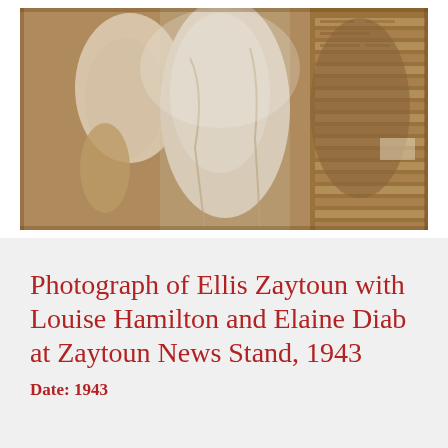[Figure (photo): Sepia-toned historical photograph showing people at a news stand. Two or three figures visible, with stacks of newspapers/magazines on display behind them. Photo is cropped showing only the middle/lower portion of the subjects.]
Photograph of Ellis Zaytoun with Louise Hamilton and Elaine Diab at Zaytoun News Stand, 1943
Date: 1943